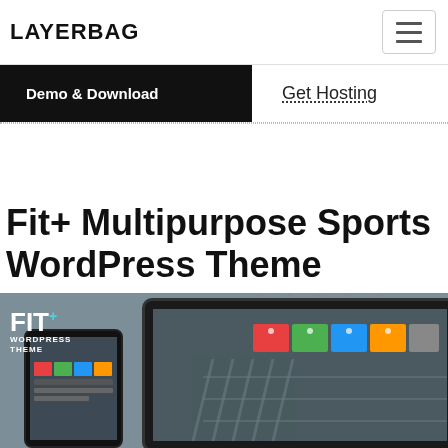LAYERBAG
Demo & Download
Get Hosting
Fit+ Multipurpose Sports WordPress Theme
[Figure (screenshot): Screenshot of the Fit+ WordPress theme showing tablet and phone device mockups with a sports/fitness website interface, featuring colorful navigation menu blocks and a person in a fitness pose in the background.]